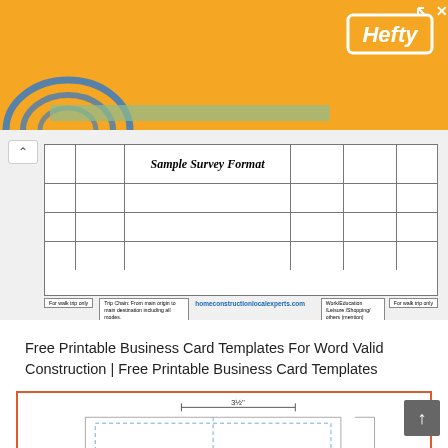[Figure (screenshot): Orange Hefty advertisement banner with logo and icons]
[Figure (screenshot): Sample Survey Format table image with title and grid, with homeconstructionlocalexperts.com label]
Free Printable Business Card Templates For Word Valid Construction | Free Printable Business Card Templates
[Figure (screenshot): Business card template diagram with 3½ inch dimension annotation and dashed border lines, orange border frame]